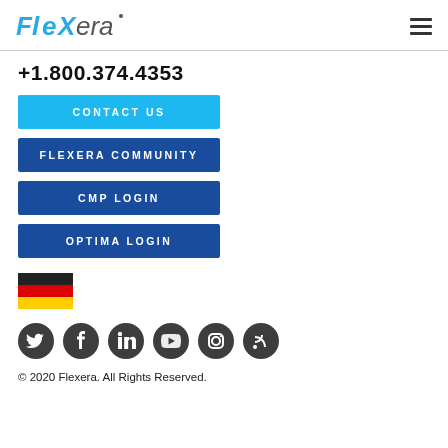Flexera
+1.800.374.4353
CONTACT US
FLEXERA COMMUNITY
CMP LOGIN
OPTIMA LOGIN
[Figure (illustration): German flag icon]
[Figure (illustration): Social media icons: Twitter, Facebook, LinkedIn, YouTube, Instagram, RSS]
© 2020 Flexera. All Rights Reserved.